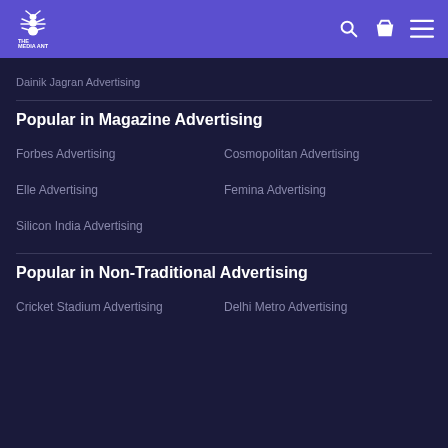The Media Ant
Dainik Jagran Advertising
Popular in Magazine Advertising
Forbes Advertising
Cosmopolitan Advertising
Elle Advertising
Femina Advertising
Silicon India Advertising
Popular in Non-Traditional Advertising
Cricket Stadium Advertising
Delhi Metro Advertising